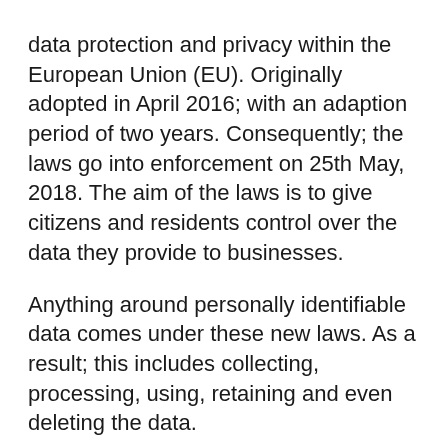data protection and privacy within the European Union (EU). Originally adopted in April 2016; with an adaption period of two years. Consequently; the laws go into enforcement on 25th May, 2018. The aim of the laws is to give citizens and residents control over the data they provide to businesses.
Anything around personally identifiable data comes under these new laws. As a result; this includes collecting, processing, using, retaining and even deleting the data.
This is why you may have been inundated with 'Updated terms and conditions' on various services...